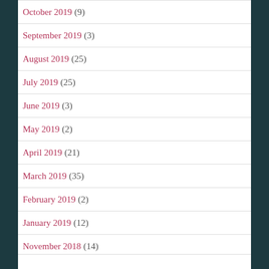October 2019 (9)
September 2019 (3)
August 2019 (25)
July 2019 (25)
June 2019 (3)
May 2019 (2)
April 2019 (21)
March 2019 (35)
February 2019 (2)
January 2019 (12)
November 2018 (14)